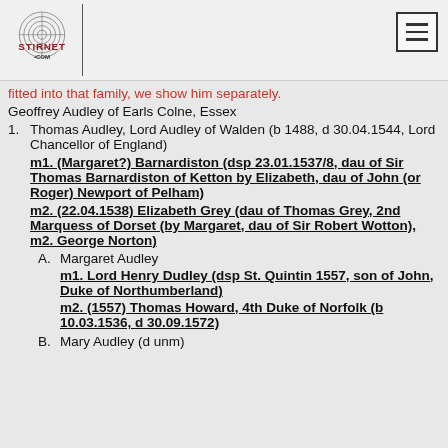Stirnet.com
fitted into that family, we show him separately.
Geoffrey Audley of Earls Colne, Essex
1. Thomas Audley, Lord Audley of Walden (b 1488, d 30.04.1544, Lord Chancellor of England) m1. (Margaret?) Barnardiston (dsp 23.01.1537/8, dau of Sir Thomas Barnardiston of Ketton by Elizabeth, dau of John (or Roger) Newport of Pelham) m2. (22.04.1538) Elizabeth Grey (dau of Thomas Grey, 2nd Marquess of Dorset (by Margaret, dau of Sir Robert Wotton), m2. George Norton)
A. Margaret Audley m1. Lord Henry Dudley (dsp St. Quintin 1557, son of John, Duke of Northumberland) m2. (1557) Thomas Howard, 4th Duke of Norfolk (b 10.03.1536, d 30.09.1572)
B. Mary Audley (d unm)